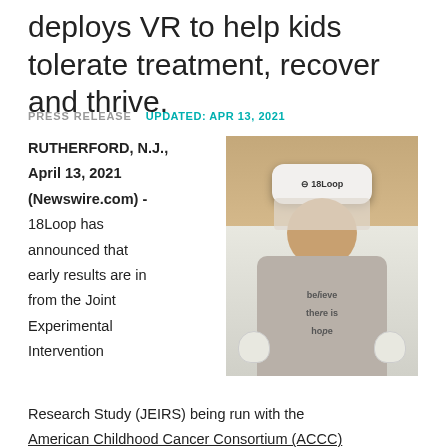deploys VR to help kids tolerate treatment, recover and thrive.
PRESS RELEASE   UPDATED: APR 13, 2021
RUTHERFORD, N.J., April 13, 2021 (Newswire.com) - 18Loop has announced that early results are in from the Joint Experimental Intervention Research Study (JEIRS) being run with the American Childhood Cancer Consortium (A CCC)
[Figure (photo): A young person lying in a hospital bed wearing a white 18Loop VR headset and holding VR controllers, wearing a grey t-shirt that reads 'believe there is hope' with a ribbon symbol]